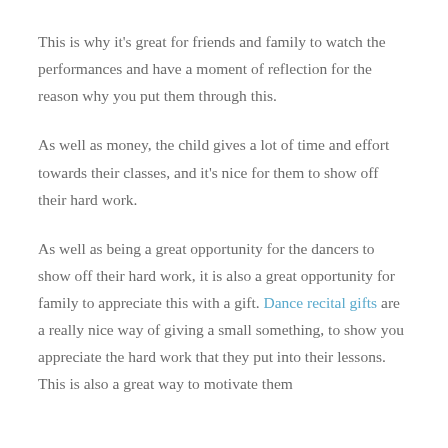This is why it's great for friends and family to watch the performances and have a moment of reflection for the reason why you put them through this.
As well as money, the child gives a lot of time and effort towards their classes, and it's nice for them to show off their hard work.
As well as being a great opportunity for the dancers to show off their hard work, it is also a great opportunity for family to appreciate this with a gift. Dance recital gifts are a really nice way of giving a small something, to show you appreciate the hard work that they put into their lessons. This is also a great way to motivate them [continues]